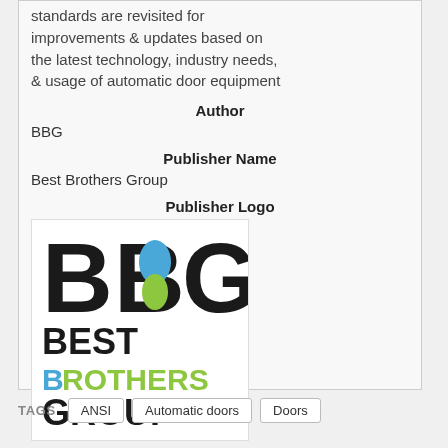standards are revisited for improvements & updates based on the latest technology, industry needs, & usage of automatic door equipment
Author
BBG
Publisher Name
Best Brothers Group
Publisher Logo
[Figure (logo): BBG Best Brothers Group logo — large black letters B, B, G with blue and green accent shapes, below which text reads BEST BROTHERS GROUP]
TAGS   ANSI   Automatic doors   Doors